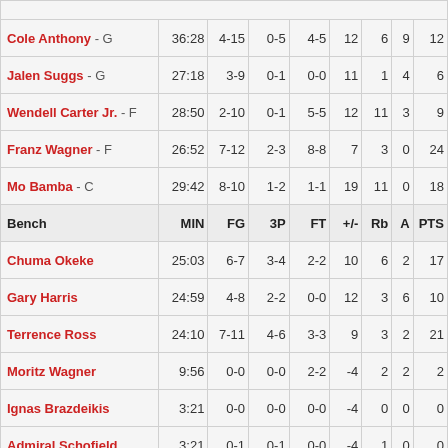| Player | MIN | FG | 3P | FT | +/- | Rb | A | PTS |
| --- | --- | --- | --- | --- | --- | --- | --- | --- |
| Cole Anthony - G | 36:28 | 4-15 | 0-5 | 4-5 | 12 | 6 | 9 | 12 |
| Jalen Suggs - G | 27:18 | 3-9 | 0-1 | 0-0 | 11 | 1 | 4 | 6 |
| Wendell Carter Jr. - F | 28:50 | 2-10 | 0-1 | 5-5 | 12 | 11 | 3 | 9 |
| Franz Wagner - F | 26:52 | 7-12 | 2-3 | 8-8 | 7 | 3 | 0 | 24 |
| Mo Bamba - C | 29:42 | 8-10 | 1-2 | 1-1 | 19 | 11 | 0 | 18 |
| Bench (header) | MIN | FG | 3P | FT | +/- | Rb | A | PTS |
| Chuma Okeke | 25:03 | 6-7 | 3-4 | 2-2 | 10 | 6 | 2 | 17 |
| Gary Harris | 24:59 | 4-8 | 2-2 | 0-0 | 12 | 3 | 6 | 10 |
| Terrence Ross | 24:10 | 7-11 | 4-6 | 3-3 | 9 | 3 | 2 | 21 |
| Moritz Wagner | 9:56 | 0-0 | 0-0 | 2-2 | -4 | 2 | 2 | 2 |
| Ignas Brazdeikis | 3:21 | 0-0 | 0-0 | 0-0 | -4 | 0 | 0 | 0 |
| Admiral Schofield | 3:21 | 0-1 | 0-1 | 0-0 | -4 | 1 | 0 | 0 |
| Robin Lopez |  |  |  | DNP |  |  |  |  |